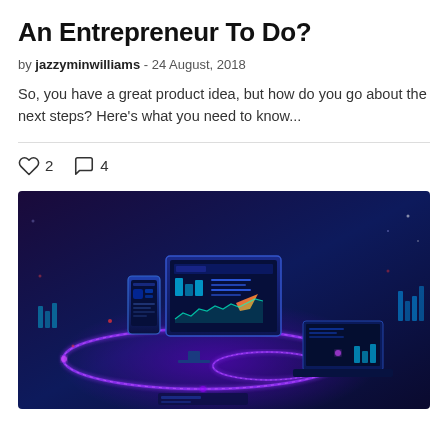An Entrepreneur To Do?
by jazzyminwilliams - 24 August, 2018
So, you have a great product idea, but how do you go about the next steps? Here's what you need to know...
♡ 2   ○ 4
[Figure (illustration): Isometric tech illustration showing a desktop monitor with dashboard/analytics UI, a mobile phone, a laptop, and decorative glowing circular rings, all rendered in dark purple/blue gradient with cyan and pink neon accents, representing digital business analytics or entrepreneurship concept.]